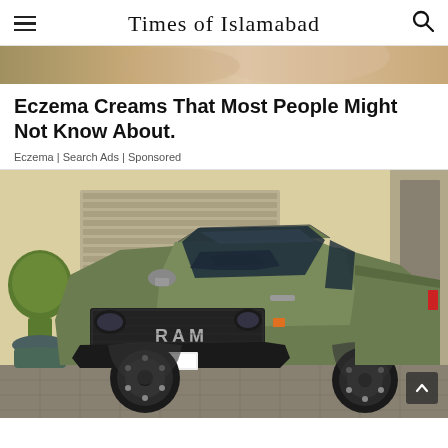Times of Islamabad
[Figure (photo): Partial top strip image showing skin/body photo, cropped]
Eczema Creams That Most People Might Not Know About.
Eczema | Search Ads | Sponsored
[Figure (photo): Matte olive green RAM 1500 TRX pickup truck parked outside a building with topiary plants, front 3/4 view]